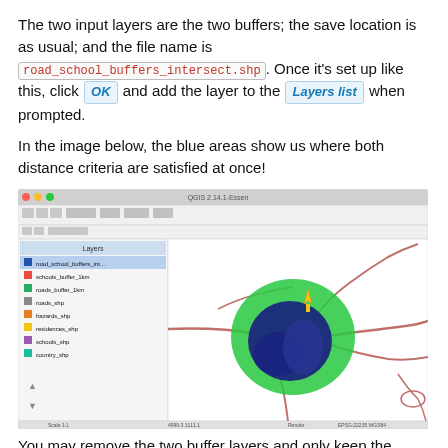The two input layers are the two buffers; the save location is as usual; and the file name is road_school_buffers_intersect.shp. Once it's set up like this, click OK and add the layer to the Layers list when prompted.
In the image below, the blue areas show us where both distance criteria are satisfied at once!
[Figure (screenshot): QGIS application window showing a map with roads (pink/brown lines), a large green buffer area, and a dark blue intersection area in the center. The left panel shows a layers list with several entries.]
You may remove the two buffer layers and only keep the one...